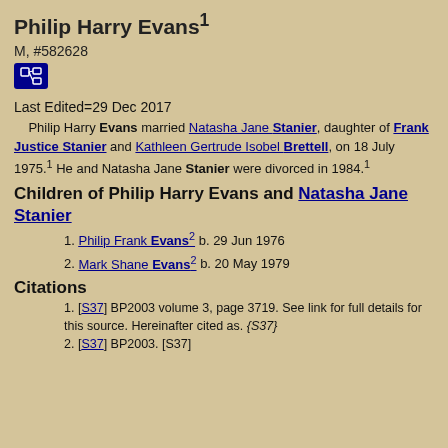Philip Harry Evans¹
M, #582628
Last Edited=29 Dec 2017
Philip Harry Evans married Natasha Jane Stanier, daughter of Frank Justice Stanier and Kathleen Gertrude Isobel Brettell, on 18 July 1975.¹ He and Natasha Jane Stanier were divorced in 1984.¹
Children of Philip Harry Evans and Natasha Jane Stanier
1. Philip Frank Evans² b. 29 Jun 1976
2. Mark Shane Evans² b. 20 May 1979
Citations
1. [S37] BP2003 volume 3, page 3719. See link for full details for this source. Hereinafter cited as. {S37}
2. [S37] BP2003. [S37]